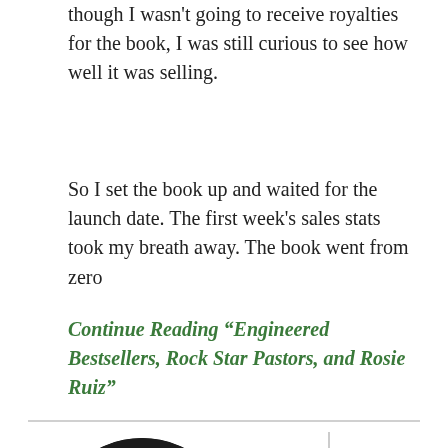though I wasn't going to receive royalties for the book, I was still curious to see how well it was selling.
So I set the book up and waited for the launch date. The first week's sales stats took my breath away. The book went from zero
Continue Reading "Engineered Bestsellers, Rock Star Pastors, and Rosie Ruiz"
[Figure (photo): Circular headshot photo of a middle-aged man with light brown/grey hair wearing a dark suit, against a black background]